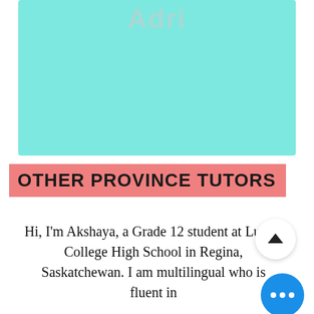[Figure (other): Teal/turquoise profile card with faded 'Adri' text at top]
OTHER PROVINCE TUTORS
[Figure (other): Teal card with tutor bio text: Hi, I'm Akshaya, a Grade 12 student at Luther College High School in Regina, Saskatchewan. I am multilingual who is fluent in]
Hi, I'm Akshaya, a Grade 12 student at Luther College High School in Regina, Saskatchewan. I am multilingual who is fluent in